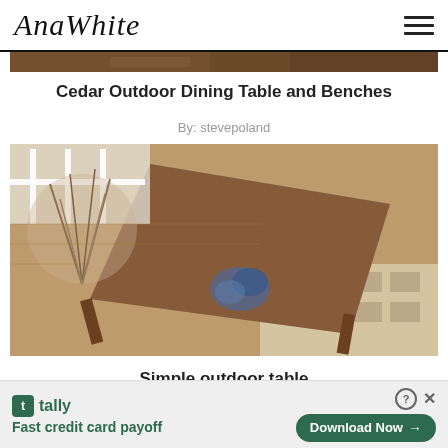AnaWhite
[Figure (photo): Partial view of cedar outdoor dining table and benches, wood surface visible at top]
Cedar Outdoor Dining Table and Benches
By: stevepoland
[Figure (photo): Overhead view looking down at a simple outdoor wooden table on a patterned rug with a decorative plant arrangement nearby, photographed from above at an angle]
Simple outdoor table
By: tiacobazzi
[Figure (screenshot): Tally app advertisement banner: Fast credit card payoff. Download Now button.]